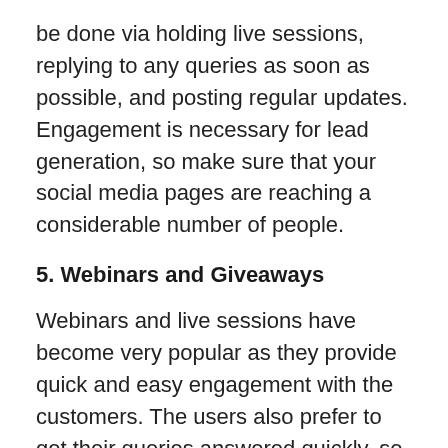be done via holding live sessions, replying to any queries as soon as possible, and posting regular updates. Engagement is necessary for lead generation, so make sure that your social media pages are reaching a considerable number of people.
5. Webinars and Giveaways
Webinars and live sessions have become very popular as they provide quick and easy engagement with the customers. The users also prefer to get their queries answered quickly, so they are more likely to join online live sessions of your business and get any necessary updates about the products and services offered by your company.
Moreover, giveaways on social media pages and